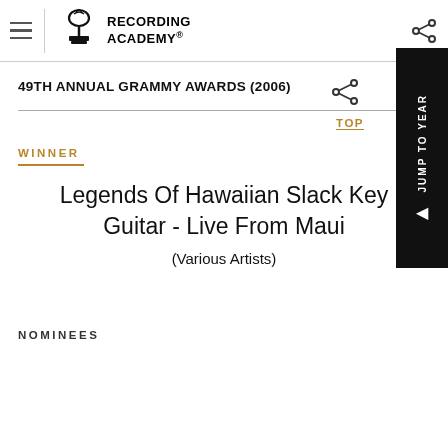Recording Academy
49TH ANNUAL GRAMMY AWARDS (2006)
WINNER
Legends Of Hawaiian Slack Key Guitar - Live From Maui
(Various Artists)
NOMINEES